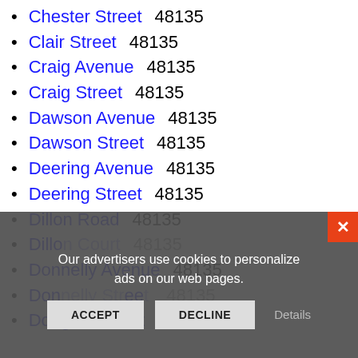Chester Street  48135
Clair Street  48135
Craig Avenue  48135
Craig Street  48135
Dawson Avenue  48135
Dawson Street  48135
Deering Avenue  48135
Deering Street  48135
Dillon Road  48135
Dillon Court  48135
Donnelly Avenue  48135
Donnelly Street  48135
Douglas Street  48135
[Figure (screenshot): Cookie consent overlay with ACCEPT and DECLINE buttons, close X button in orange top-right, text: Our advertisers use cookies to personalize ads on our web pages. Details link on right.]